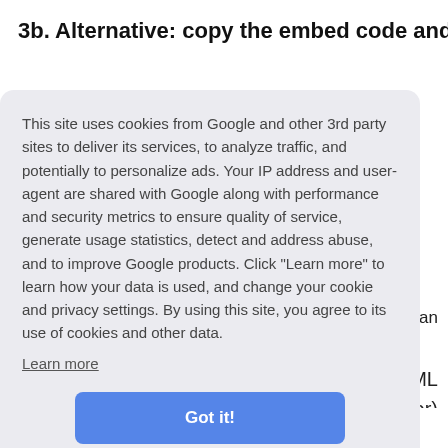3b. Alternative: copy the embed code and
This site uses cookies from Google and other 3rd party sites to deliver its services, to analyze traffic, and potentially to personalize ads. Your IP address and user-agent are shared with Google along with performance and security metrics to ensure quality of service, generate usage statistics, detect and address abuse, and to improve Google products. Click "Learn more" to learn how your data is used, and change your cookie and privacy settings. By using this site, you agree to its use of cookies and other data.
Learn more
Got it!
5. paste the embed code into your post or